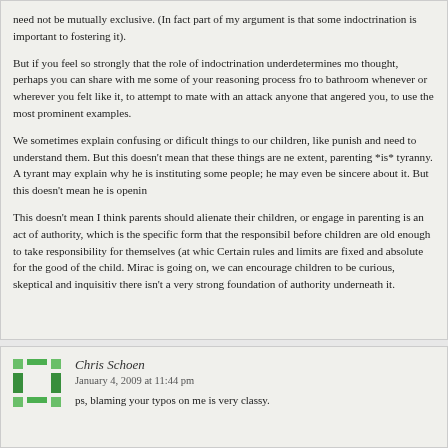need not be mutually exclusive. (In fact part of my argument is that some indoctrination is important to fostering it).

But if you feel so strongly that the role of indoctrination underdetermines moral thought, perhaps you can share with me some of your reasoning process from to bathroom whenever or wherever you felt like it, to attempt to mate with anyone that angered you, to use the most prominent examples.

We sometimes explain confusing or dificult things to our children, like punishment and need to understand them. But this doesn't mean that these things are not necessary extent, parenting *is* tyranny. A tyrant may explain why he is instituting some policy to people; he may even be sincere about it. But this doesn't mean he is opening

This doesn't mean I think parents should alienate their children, or engage in parenting is an act of authority, which is the specific form that the responsibility before children are old enough to take responsibility for themselves (at which Certain rules and limits are fixed and absolute for the good of the child. Miraculously, is going on, we can encourage children to be curious, skeptical and inquisitive, even if there isn't a very strong foundation of authority underneath it.
Chris Schoen
January 4, 2009 at 11:44 pm
ps, blaming your typos on me is very classy.